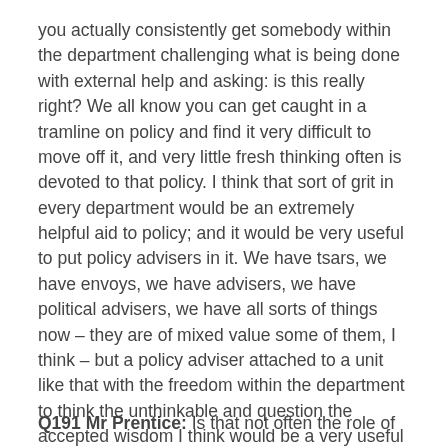you actually consistently get somebody within the department challenging what is being done with external help and asking: is this really right? We all know you can get caught in a tramline on policy and find it very difficult to move off it, and very little fresh thinking often is devoted to that policy. I think that sort of grit in every department would be an extremely helpful aid to policy; and it would be very useful to put policy advisers in it. We have tsars, we have envoys, we have advisers, we have political advisers, we have all sorts of things now – they are of mixed value some of them, I think – but a policy adviser attached to a unit like that with the freedom within the department to think the unthinkable and question the accepted wisdom I think would be a very useful addition to the making of good policy.
Q191 Mr Prentice: Is that not often the role of